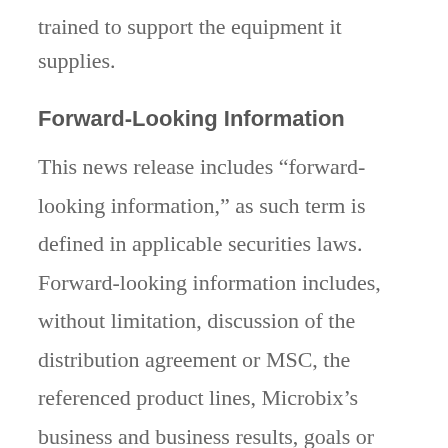trained to support the equipment it supplies.
Forward-Looking Information
This news release includes “forward-looking information,” as such term is defined in applicable securities laws. Forward-looking information includes, without limitation, discussion of the distribution agreement or MSC, the referenced product lines, Microbix’s business and business results, goals or outlook, risks associated with financial